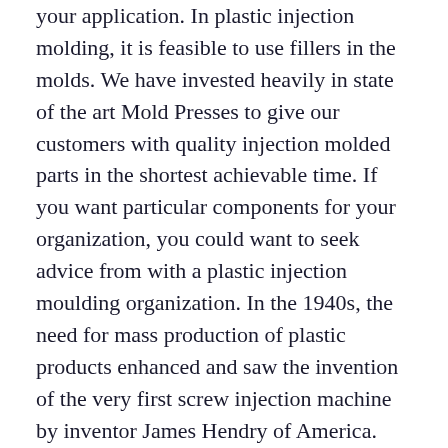your application. In plastic injection molding, it is feasible to use fillers in the molds. We have invested heavily in state of the art Mold Presses to give our customers with quality injection molded parts in the shortest achievable time. If you want particular components for your organization, you could want to seek advice from with a plastic injection moulding organization. In the 1940s, the need for mass production of plastic products enhanced and saw the invention of the very first screw injection machine by inventor James Hendry of America. Tool: In injection molding, the term often utilized to describe the mold. Almost all plastics will shrink after and even though cooling each in the mold and following the plastic component is ejected from the mold. In addition to these parameters, constant machine cycles and machine barrel cushions are a necessity for good quality plastic components. There is a purpose why plastic injection molding is one of the – if not the most frequent – technologies for lengthy manufacturing runs; it really is rapidly. Adhering to some